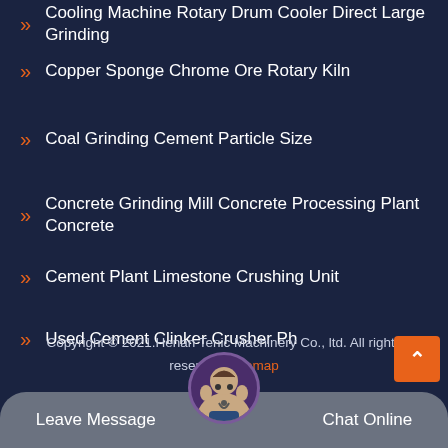Cooling Machine Rotary Drum Cooler Direct Large Grinding
Copper Sponge Chrome Ore Rotary Kiln
Coal Grinding Cement Particle Size
Concrete Grinding Mill Concrete Processing Plant Concrete
Cement Plant Limestone Crushing Unit
Used Cement Clinker Crusher Ph
Copyright © 2021.Henan Tenic Machinery Co., ltd. All rights reserved. Sitemap
[Figure (other): Back to top orange button with upward chevron, bottom right corner]
[Figure (photo): Customer support representative avatar in circular frame]
Leave Message
Chat Online